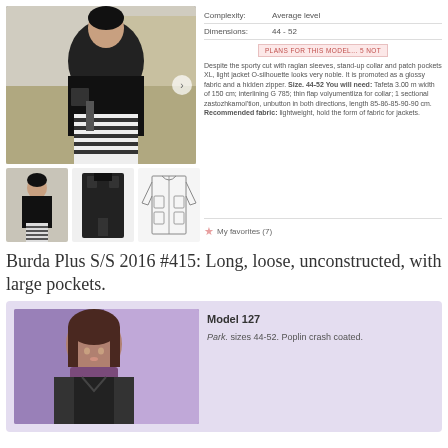[Figure (photo): Main product photo of a woman wearing a long black jacket with striped skirt]
Complexity: Average level
Dimensions: 44 - 52
PLANS FOR THIS MODEL... 5 NOT
Despite the sporty cut with raglan sleeves, stand-up collar and patch pockets XL, light jacket O-silhouette looks very noble. It is promoted as a glossy fabric and a hidden zipper. Size. 44-52 You will need: Tafeta 3.00 m width of 150 cm; interlining G 785; thin flap volyumentliza for collar; 1 sectional zastozhkamol'tion, unbutton in both directions, length 85-86-85-90-90 cm. Recommended fabric: lightweight, hold the form of fabric for jackets.
[Figure (photo): Thumbnail photo 1 - woman in black jacket]
[Figure (photo): Thumbnail photo 2 - black jacket front view]
[Figure (illustration): Thumbnail sketch/technical drawing of jacket]
My favorites (7)
Burda Plus S/S 2016 #415: Long, loose, unconstructed, with large pockets.
Model 127
Park. sizes 44-52. Poplin crash coated.
[Figure (photo): Bottom card photo of a woman wearing a dark jacket with purple turtleneck]